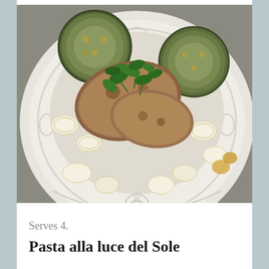[Figure (photo): A white embossed ceramic plate/bowl filled with shell pasta (conchiglie), roasted zucchini halves, breaded meat or fish pieces, garnished with fresh parsley leaves. The dish is photographed from above at a slight angle on a gray linen surface.]
Serves 4.
Pasta alla luce del Sole